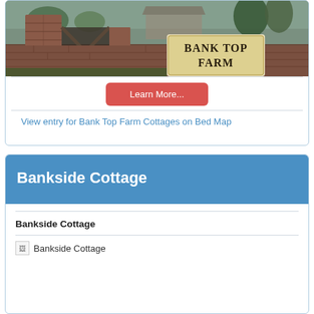[Figure (photo): Entrance gate to Bank Top Farm with brick pillars and a sign reading 'BANK TOP FARM'. Trees and farm buildings visible in background.]
Learn More...
View entry for Bank Top Farm Cottages on Bed Map
Bankside Cottage
Bankside Cottage
[Figure (photo): Bankside Cottage image (broken image placeholder)]